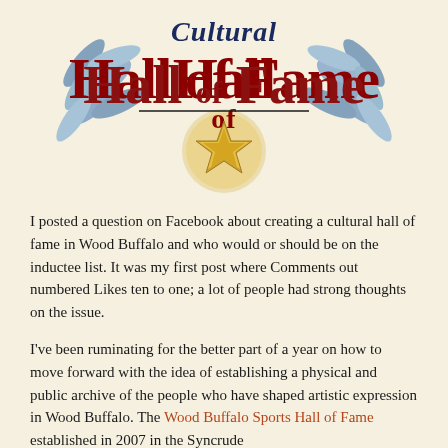[Figure (logo): Cultural Hall of Fame logo with italic cursive text 'Cultural' at top in blue/black, 'Hall of Fame' in large bold red serif text, a gold star medallion in the center, and decorative blue floral/leaf elements surrounding the text.]
I posted a question on Facebook about creating a cultural hall of fame in Wood Buffalo and who would or should be on the inductee list. It was my first post where Comments out numbered Likes ten to one; a lot of people had strong thoughts on the issue.
I've been ruminating for the better part of a year on how to move forward with the idea of establishing a physical and public archive of the people who have shaped artistic expression in Wood Buffalo. The Wood Buffalo Sports Hall of Fame established in 2007 in the Syncrude